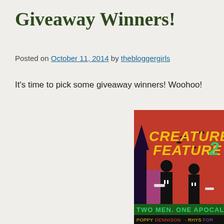Giveaway Winners!
Posted on October 11, 2014 by thebloggergirls
It's time to pick some giveaway winners! Woohoo!
[Figure (illustration): Book cover for 'Creature Feature 2' showing two silhouetted men in suits holding guns against a red and purple background with bats and trees. Text reads: TWO MEN. ONE APOCALYPS... POPPY DENNISON · RHYS FOR...]